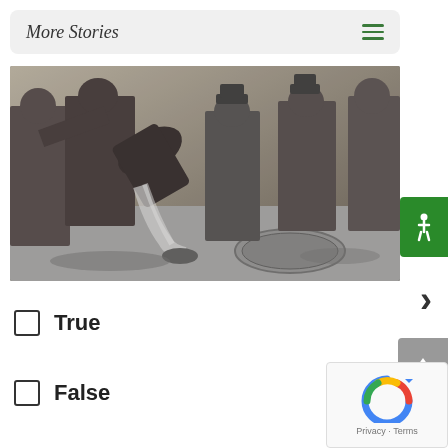More Stories
[Figure (photo): Black and white historical photograph of men pouring liquid from a barrel into a sewer/drain in the street, likely depicting Prohibition-era alcohol destruction.]
True
False